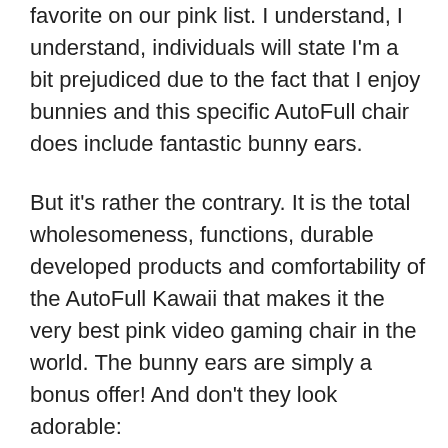favorite on our pink list. I understand, I understand, individuals will state I'm a bit prejudiced due to the fact that I enjoy bunnies and this specific AutoFull chair does include fantastic bunny ears.
But it's rather the contrary. It is the total wholesomeness, functions, durable developed products and comfortability of the AutoFull Kawaii that makes it the very best pink video gaming chair in the world. The bunny ears are simply a bonus offer! And don't they look adorable:
[Figure (photo): autofull pink gaming chair with bunny ears atop the backrest and with white armrests]
AutoFull chair is the No. 1 pink video gaming chair. Not